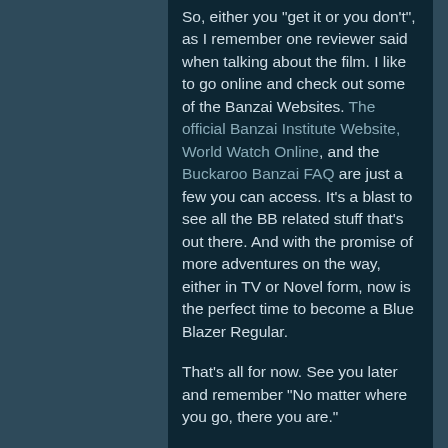So, either you "get it or you don't", as I remember one reviewer said when talking about the film. I like to go online and check out some of the Banzai Websites. The official Banzai Institute Website, World Watch Online, and the Buckaroo Banzai FAQ are just a few you can access. It's a blast to see all the BB related stuff that's out there. And with the promise of more adventures on the way, either in TV or Novel form, now is the perfect time to become a Blue Blazer Regular.
That's all for now. See you later and remember "No matter where you go, there you are."
Buy it at amazon
Add Comment [3]